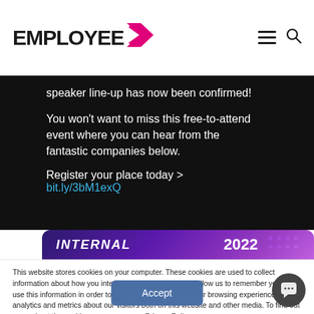[Figure (logo): EMPLOYEE logo with pink/magenta arrow chevron pointing right]
speaker line-up has now been confirmed!
You won't want to miss this free-to-attend event where you can hear from the fantastic companies below.
Register your place today > bit.ly/3bM1exQ
[Figure (photo): Dark purple/violet banner showing 2022 with dotted pattern decorations]
This website stores cookies on your computer. These cookies are used to collect information about how you interact with our website and allow us to remember you. We use this information in order to improve and customise your browsing experience and for analytics and metrics about our visitors both on this website and other media. To find out more about the cookies we use, see our Privacy Policy